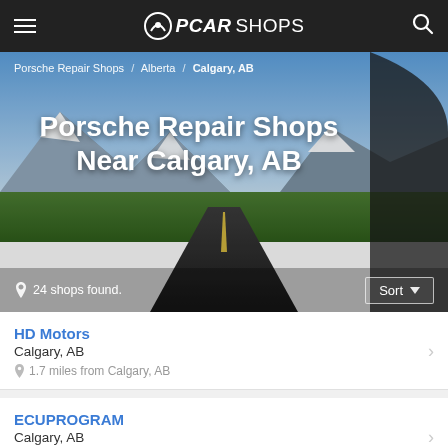PCARSHOPS
[Figure (screenshot): Hero background photo viewed from inside a car side mirror showing a mountain road with snow-capped peaks and blue sky]
Porsche Repair Shops / Alberta / Calgary, AB
Porsche Repair Shops Near Calgary, AB
24 shops found.
Sort
HD Motors
Calgary, AB
1.7 miles from Calgary, AB
ECUPROGRAM
Calgary, AB
2.2 miles from Calgary, AB